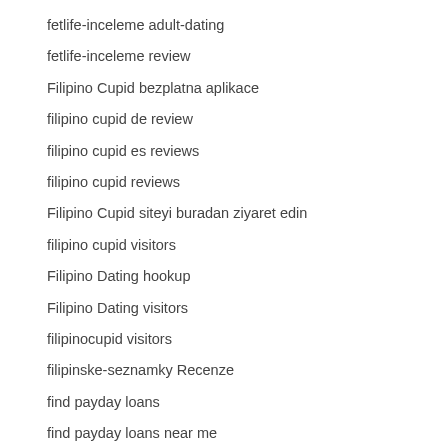fetlife-inceleme adult-dating
fetlife-inceleme review
Filipino Cupid bezplatna aplikace
filipino cupid de review
filipino cupid es reviews
filipino cupid reviews
Filipino Cupid siteyi buradan ziyaret edin
filipino cupid visitors
Filipino Dating hookup
Filipino Dating visitors
filipinocupid visitors
filipinske-seznamky Recenze
find payday loans
find payday loans near me
finnish-chat-rooms review